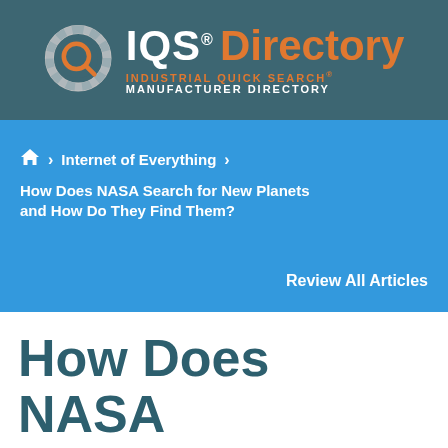IQS® Directory — INDUSTRIAL QUICK SEARCH® MANUFACTURER DIRECTORY
🏠 > Internet of Everything > How Does NASA Search for New Planets and How Do They Find Them?
Review All Articles
How Does NASA Search for New Planets and How Do